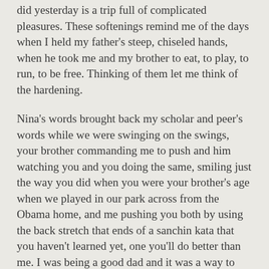did yesterday is a trip full of complicated pleasures. These softenings remind me of the days when I held my father's steep, chiseled hands, when he took me and my brother to eat, to play, to run, to be free. Thinking of them let me think of the hardening.
Nina's words brought back my scholar and peer's words while we were swinging on the swings, your brother commanding me to push and him watching you and you doing the same, smiling just the way you did when you were your brother's age when we played in our park across from the Obama home, and me pushing you both by using the back stretch that ends of a sanchin kata that you haven't learned yet, one you'll do better than me. I was being a good dad and it was a way to spend the day with you and with my good dad on his birthday.